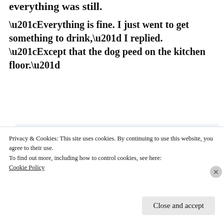everything was still.
“Everything is fine. I just went to get something to drink,” I replied. “Except that the dog peed on the kitchen floor.”
[Figure (screenshot): Advertisement for WordPress app: 'Build a writing habit. Post on the go.' with GET THE APP link and WordPress logo]
Privacy & Cookies: This site uses cookies. By continuing to use this website, you agree to their use.
To find out more, including how to control cookies, see here:
Cookie Policy
Close and accept